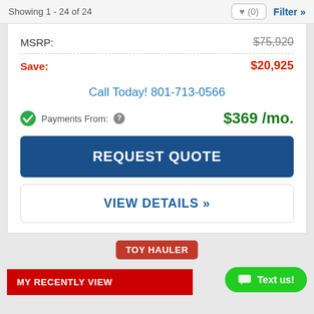Showing 1 - 24 of 24
MSRP: $75,920
Save: $20,925
Call Today! 801-713-0566
Payments From: $369 /mo.
REQUEST QUOTE
VIEW DETAILS »
TOY HAULER
MY RECENTLY VIEWED
Text us!